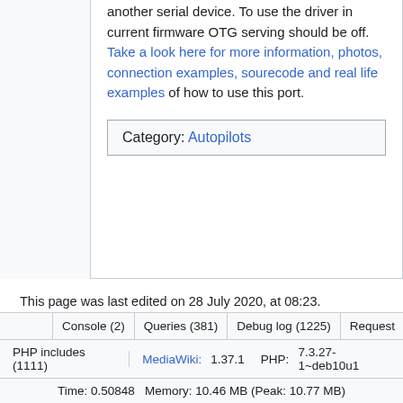another serial device. To use the driver in current firmware OTG serving should be off. Take a look here for more information, photos, connection examples, sourecode and real life examples of how to use this port.
Category: Autopilots
This page was last edited on 28 July 2020, at 08:23.
Content is available under GNU Free Documentation License 1.3 or later unless otherwise noted.
Console (2) | Queries (381) | Debug log (1225) | Request
PHP includes (1111) | MediaWiki: 1.37.1 | PHP: 7.3.27-1~deb10u1
Time: 0.50848   Memory: 10.46 MB (Peak: 10.77 MB)